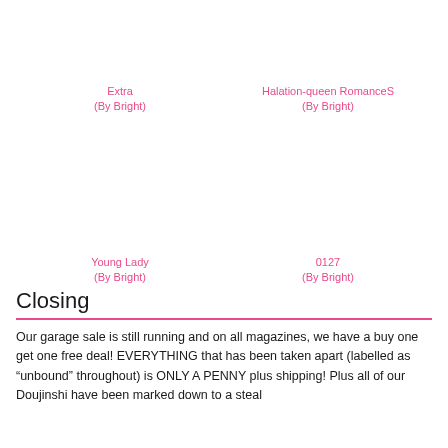Extra
(By Bright)
Halation-queen RomanceS
(By Bright)
Young Lady
(By Bright)
0127
(By Bright)
Closing
Our garage sale is still running and on all magazines, we have a buy one get one free deal! EVERYTHING that has been taken apart (labelled as “unbound” throughout) is ONLY A PENNY plus shipping! Plus all of our Doujinshi have been marked down to a steal